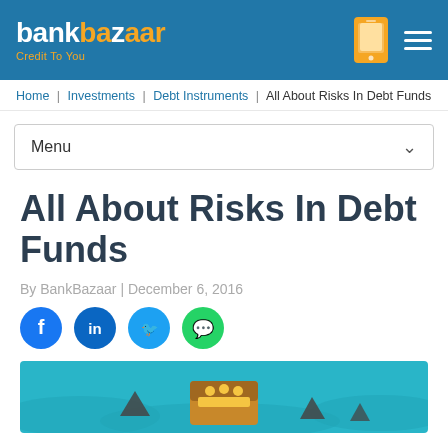bankbazaar Credit To You
Home | Investments | Debt Instruments | All About Risks In Debt Funds
Menu
All About Risks In Debt Funds
By BankBazaar | December 6, 2016
[Figure (illustration): Social share buttons: Facebook, LinkedIn, Twitter, WhatsApp]
[Figure (illustration): Illustration of a treasure chest on water with shark fins, representing risks in debt funds]